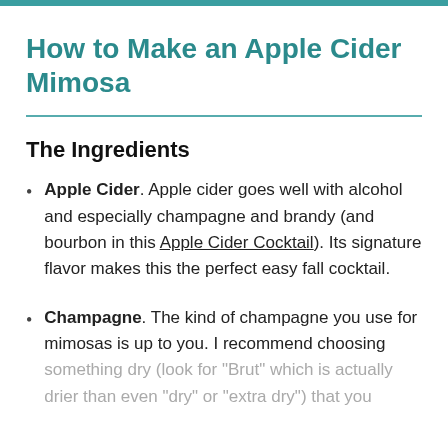How to Make an Apple Cider Mimosa
The Ingredients
Apple Cider. Apple cider goes well with alcohol and especially champagne and brandy (and bourbon in this Apple Cider Cocktail). Its signature flavor makes this the perfect easy fall cocktail.
Champagne. The kind of champagne you use for mimosas is up to you. I recommend choosing something dry (look for "Brut" which is actually drier than even "dry" or "extra dry") that you